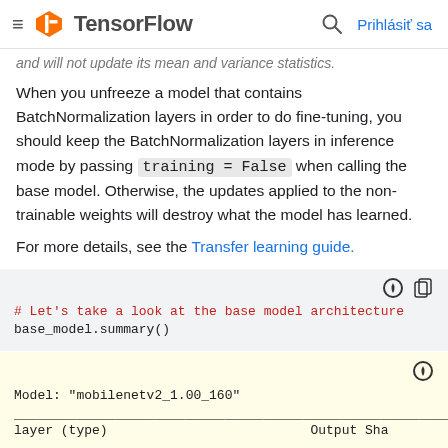≡  TensorFlow   🔍  Prihlásiť sa
and will not update its mean and variance statistics.
When you unfreeze a model that contains BatchNormalization layers in order to do fine-tuning, you should keep the BatchNormalization layers in inference mode by passing training = False when calling the base model. Otherwise, the updates applied to the non-trainable weights will destroy what the model has learned.
For more details, see the Transfer learning guide.
[Figure (screenshot): Code block with dark/copy icons showing: # Let's take a look at the base model architecture / base_model.summary()]
[Figure (screenshot): Output block showing: Model: "mobilenetv2_1.00_160" with a dashed separator line and partial next line]